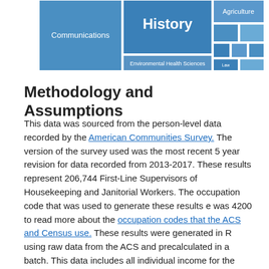[Figure (other): Partial treemap chart showing blue rectangles labeled with categories including 'Communications', 'History', 'Agriculture', and other smaller unlabeled tiles.]
Methodology and Assumptions
This data was sourced from the person-level data recorded by the American Communities Survey. The version of the survey used was the most recent 5 year revision for data recorded from 2013-2017. These results represent 206,744 First-Line Supervisors of Housekeeping and Janitorial Workers. The occupation code that was used to generate these results e was 4200 to read more about the occupation codes that the ACS and Census use. These results were generated in R using raw data from the ACS and precalculated in a batch. This data includes all individual income for the survey respondent, so some of the people may have a wage job as well as other income